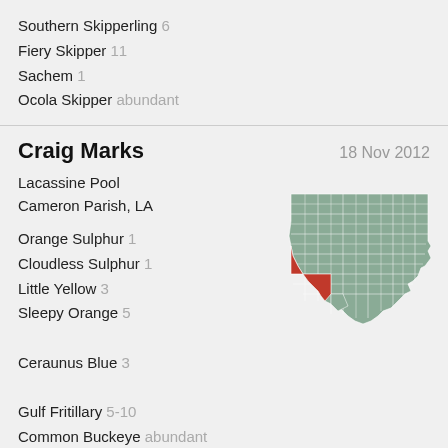Southern Skipperling  6
Fiery Skipper  11
Sachem  1
Ocola Skipper  abundant
Craig Marks
18 Nov 2012
Lacassine Pool
Cameron Parish, LA
[Figure (map): Map of Louisiana parishes with Cameron Parish highlighted in red]
Orange Sulphur  1
Cloudless Sulphur  1
Little Yellow  3
Sleepy Orange  5
Ceraunus Blue  3
Gulf Fritillary  5-10
Common Buckeye  abundant
Viceroy  1
Tropical Checkered-Skipper  common
Least Skipper  7
Fiery Skipper  common
Ocola Skipper  abundant